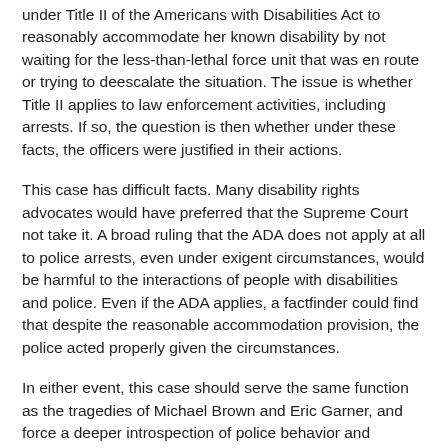under Title II of the Americans with Disabilities Act to reasonably accommodate her known disability by not waiting for the less-than-lethal force unit that was en route or trying to deescalate the situation. The issue is whether Title II applies to law enforcement activities, including arrests. If so, the question is then whether under these facts, the officers were justified in their actions.
This case has difficult facts. Many disability rights advocates would have preferred that the Supreme Court not take it. A broad ruling that the ADA does not apply at all to police arrests, even under exigent circumstances, would be harmful to the interactions of people with disabilities and police. Even if the ADA applies, a factfinder could find that despite the reasonable accommodation provision, the police acted properly given the circumstances.
In either event, this case should serve the same function as the tragedies of Michael Brown and Eric Garner, and force a deeper introspection of police behavior and disability. People with disabilities, like other minorities, are subjects of prejudice, stigma and misunderstanding, and this manifests